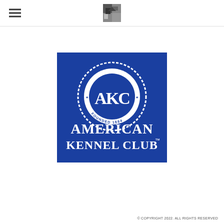[Figure (logo): American Kennel Club (AKC) logo — blue square background with white circular emblem showing 'AMERICAN KENNEL CLUB' around the outside, 'AKC' monogram in center, 'FOUNDED 1884' at bottom of circle, and 'AMERICAN KENNEL CLUB™' in large letters below the emblem.]
© COPYRIGHT 2022. ALL RIGHTS RESERVED